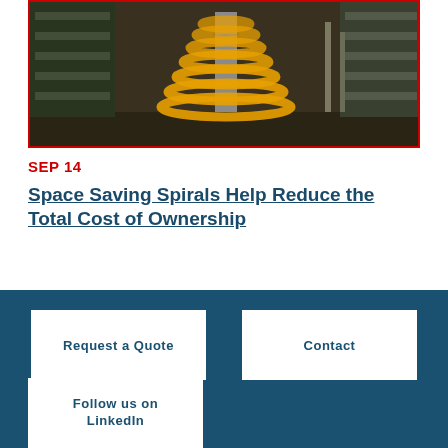[Figure (photo): Warehouse interior showing yellow spiral conveyor system with shelving units and industrial flooring]
SEP 14
Space Saving Spirals Help Reduce the Total Cost of Ownership
Ryson Spiral Conveyors are ideal for warehousing and order-picking operations. You'll see why Ryson Conveyors help lower the total cost of ownership when compared with traditional incline methods.
Request a Quote
Contact
Follow us on LinkedIn